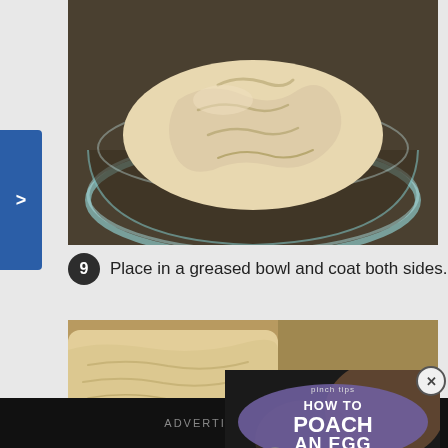[Figure (photo): Bread dough in a greased glass bowl viewed from above]
9  Place in a greased bowl and coat both sides.
[Figure (photo): Close-up of bread dough being rolled or rested on a surface, with a video overlay showing 'HOW TO POACH AN EGG' with a play button]
ADVERTISEMENT